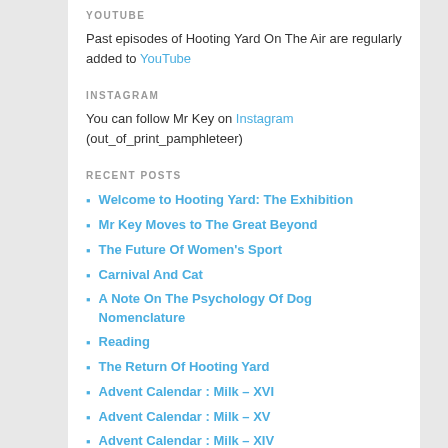YOUTUBE
Past episodes of Hooting Yard On The Air are regularly added to YouTube
INSTAGRAM
You can follow Mr Key on Instagram (out_of_print_pamphleteer)
RECENT POSTS
Welcome to Hooting Yard: The Exhibition
Mr Key Moves to The Great Beyond
The Future Of Women's Sport
Carnival And Cat
A Note On The Psychology Of Dog Nomenclature
Reading
The Return Of Hooting Yard
Advent Calendar : Milk – XVI
Advent Calendar : Milk – XV
Advent Calendar : Milk – XIV